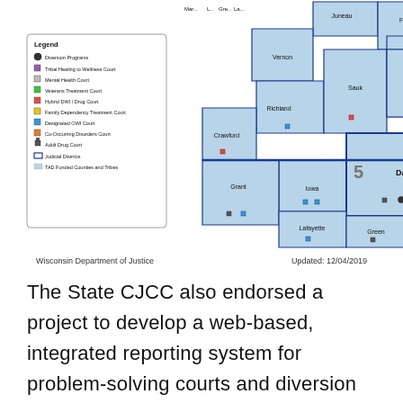[Figure (map): Wisconsin county map showing judicial districts and problem-solving court locations with legend. Features counties labeled including Juneau, Fond du Lac, Vernon, Richland, Crawford, Sauk, Columbia, Dodge, Iowa, Dane, Jefferson, Grant, Lafayette, Green, Rock, Walworth, Racine, Kenosha, and others. Districts numbered 2, 3, 5 visible. Legend shows Diversion Programs, Tribal Healing to Wellness Court, Mental Health Court, Veterans Treatment Court, Hybrid DWI/Drug Court, Family Dependency Treatment Court, Designated OWI Court, Co-Occurring Disorders Court, Adult Drug Court, Judicial Districts, TAD Funded Counties and Tribes.]
Wisconsin Department of Justice                    Updated: 12/04/2019
The State CJCC also endorsed a project to develop a web-based, integrated reporting system for problem-solving courts and diversion programs throughout Wisconsin. This system, the Comprehensive Outcomes,